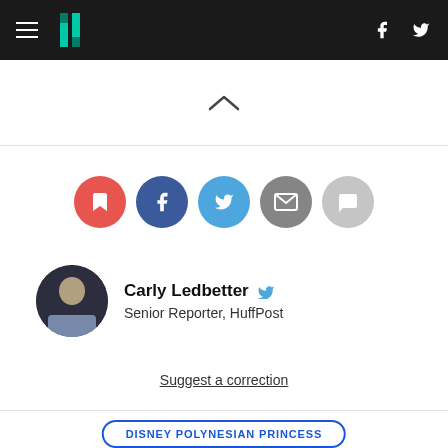HuffPost header with hamburger menu, logo, Facebook and Twitter icons
[Figure (infographic): Chevron / caret up symbol indicating collapse]
[Figure (infographic): Social sharing icons: bookmark (red), Facebook (blue), Twitter (light blue), email (grey), comment (light grey)]
Carly Ledbetter - Senior Reporter, HuffPost
Suggest a correction
DISNEY POLYNESIAN PRINCESS